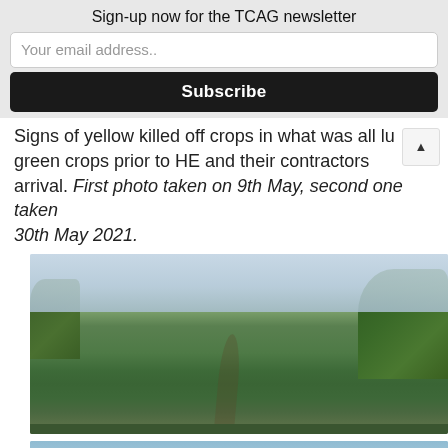Sign-up now for the TCAG newsletter
Your email address..
Subscribe
Signs of yellow killed off crops in what was all lush green crops prior to HE and their contractors arrival. First photo taken on 9th May, second one taken 30th May 2021.
[Figure (photo): Green farm field with lush crops, trees in background, overcast sky]
[Figure (photo): Second field photo showing crops, fence in foreground, taken 30th May 2021]